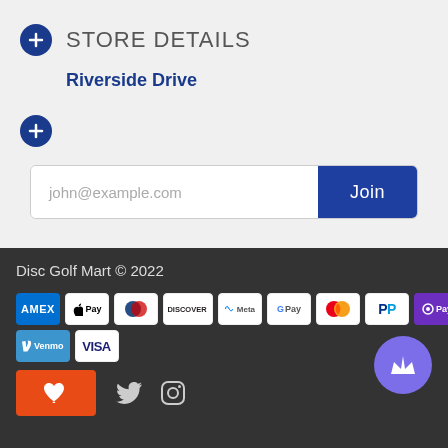STORE DETAILS
Riverside Drive
[Figure (screenshot): Email subscription input field with placeholder john@example.com and a blue Join button]
Disc Golf Mart © 2022
[Figure (infographic): Payment method logos: Amex, Apple Pay, Diners, Discover, Meta, Google Pay, Mastercard, PayPal, OPay, Venmo, Visa]
[Figure (infographic): Social icons: wishlist heart button (orange), Twitter bird, Instagram camera]